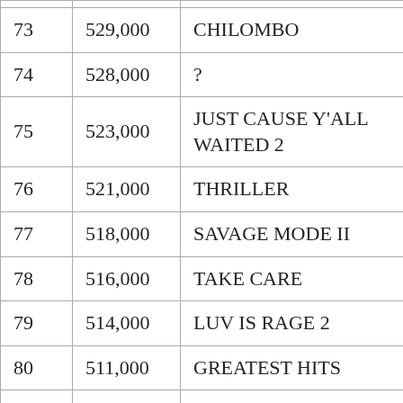| # | Units | Album |
| --- | --- | --- |
| 73 | 529,000 | CHILOMBO |
| 74 | 528,000 | ? |
| 75 | 523,000 | JUST CAUSE Y'ALL WAITED 2 |
| 76 | 521,000 | THRILLER |
| 77 | 518,000 | SAVAGE MODE II |
| 78 | 516,000 | TAKE CARE |
| 79 | 514,000 | LUV IS RAGE 2 |
| 80 | 511,000 | GREATEST HITS |
| 81 | 501,000 | YOUNG STONER LIFE: SLIME LANGUAGE 2 |
| 82 | 501,000 | 1 |
| 83 | 501,000 | DAMN |